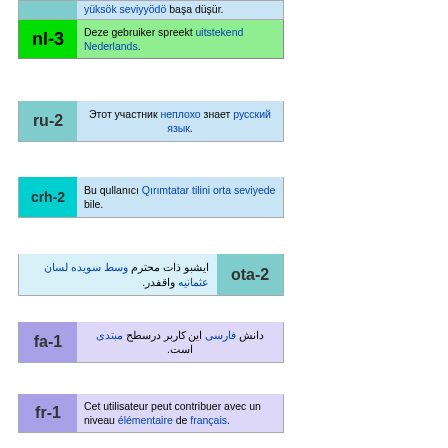yüksek seviyyədə başa düşür.
nl-3 Deze gebruiker spreekt uitstekend Nederlands.
ru-2 Этот участник неплохо знает русский язык.
crh-2 Bu qullanıcı Qırımtatar tilini orta seviyede bile.
ota-2 ایشبو ذات محترم وسط سویده لسان عثمانیه واقفدر.
fa-1 دانش فارسی این کاربر درسطح مبتدی است.
fr-1 Cet utilisateur peut contribuer avec un niveau élémentaire de français.
kk-1 Бұл қатысушы қазақ тілін бастапқы деңгейде меңгереді.
This user supports the secular identity of Turkey.